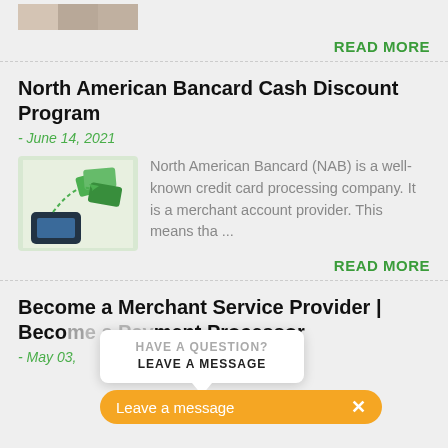[Figure (photo): Partial image at top of page, cropped]
READ MORE
North American Bancard Cash Discount Program
- June 14, 2021
[Figure (illustration): Illustration of money flying from a phone/card payment device with dotted arrow]
North American Bancard (NAB) is a well-known credit card processing company. It is a merchant account provider. This means tha...
READ MORE
Become a Merchant Service Provider | Become a Payment Processor
- May 03, ...
HAVE A QUESTION?
LEAVE A MESSAGE
Leave a message